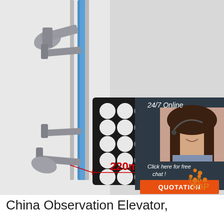[Figure (photo): Industrial machine component photo showing a mechanical elevator/press device with blue vertical rail, silver/grey clamps and arms, and a black square panel with 25 white circular holes (5x5 grid). A red measurement line indicates 220mm width. Overlaid in top-right corner is a chat widget with '24/7 Online' text, photo of a female customer service agent wearing a headset, 'Click here for free chat!' text, and an orange 'QUOTATION' button. Bottom-right has an orange 'TOP' navigation icon. Background is white/light grey.]
China Observation Elevator,